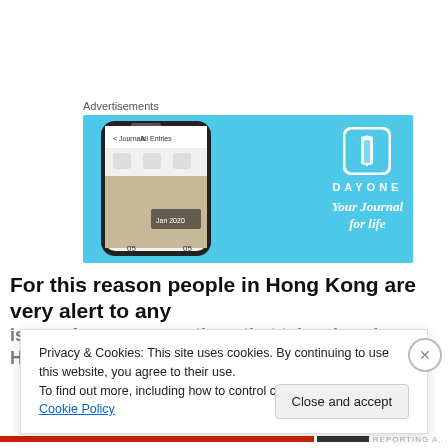Advertisements
[Figure (screenshot): DayOne app advertisement banner with blue background showing a smartphone with the Day One journal app interface on the left, and the Day One logo with text 'DAYONE' and tagline 'Your Journal for life' on the right.]
For this reason people in Hong Kong are very alert to any
issues from conversations that take place in Hong Kong
Privacy & Cookies: This site uses cookies. By continuing to use this website, you agree to their use.
To find out more, including how to control cookies, see here: Cookie Policy
Close and accept